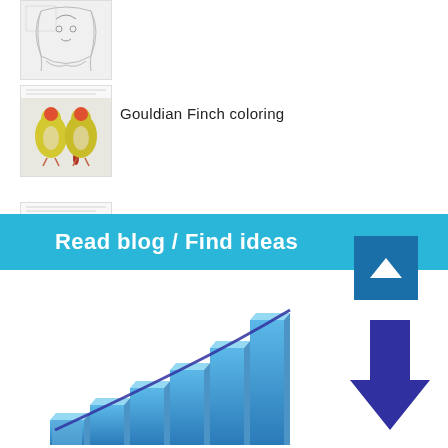[Figure (illustration): Thumbnail of a girl with a cat coloring page (black and white sketch)]
[Figure (photo): Thumbnail of two yellow Gouldian Finches perched together]
Gouldian Finch coloring
[Figure (photo): Thumbnail of two yellow Gouldian Finches perched together]
Gouldian Finches coloring
Read blog / Find ideas
[Figure (bar-chart): 3D bar chart with ascending blue bars and a dark blue downward arrow, with a curved dark line overlay]